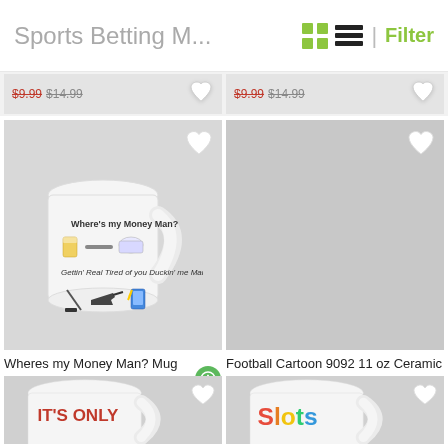Sports Betting M... | Filter
[Figure (screenshot): Partial product listing row with price tags and heart/favorite buttons]
[Figure (photo): Wheres my Money Man? Mug - white ceramic mug with cartoon graphics]
[Figure (photo): Football Cartoon 9092 11 oz Ceramic Mug - placeholder/loading image]
Wheres my Money Man? Mug
$9.99 $14.99
Football Cartoon 9092 11 oz Ceramic Mug
$9.99 $14.99
[Figure (photo): Bottom partial mug - red text IT'S ONLY on white ceramic mug]
[Figure (photo): Bottom partial mug - colorful Slots text on white ceramic mug]